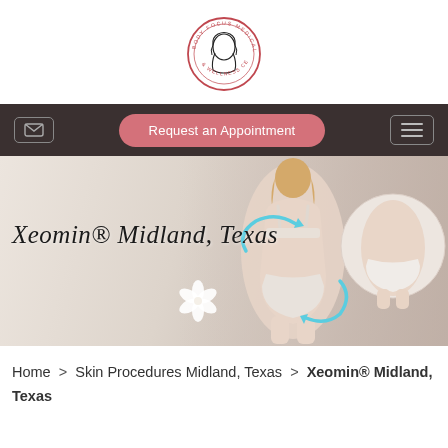[Figure (logo): Body Focus Medical Spa & Wellness Center circular logo with woman's face illustration]
Request an Appointment navigation bar with email icon and hamburger menu
[Figure (photo): Hero banner showing a woman in white underwear from behind with blue swirl arrows indicating body contouring, and a circular inset of another body shot, with text 'Xeomin® Midland, Texas' in cursive script and white flowers]
Home > Skin Procedures Midland, Texas > Xeomin® Midland, Texas